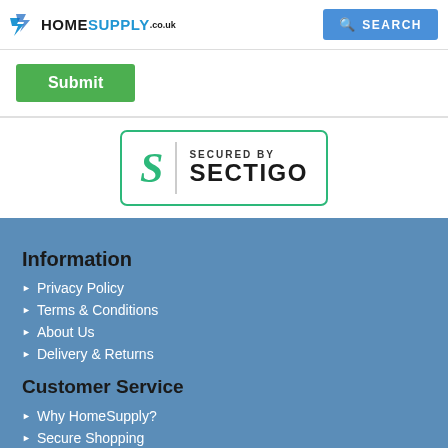HomeSupply.co.uk | SEARCH
[Figure (logo): Submit button on a form]
[Figure (logo): Secured by Sectigo badge with green S logo and text SECURED BY SECTIGO]
Information
Privacy Policy
Terms & Conditions
About Us
Delivery & Returns
Customer Service
Why HomeSupply?
Secure Shopping